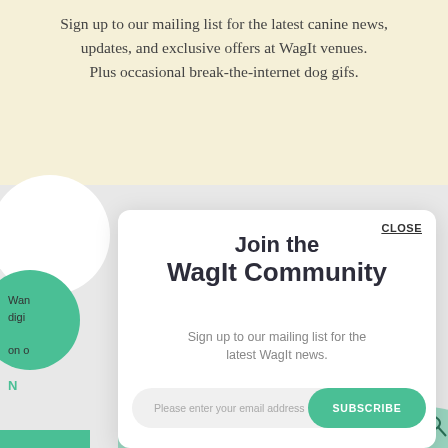Sign up to our mailing list for the latest canine news, updates, and exclusive offers at WagIt venues. Plus occasional break-the-internet dog gifs.
Join the WagIt Community
Sign up to our mailing list for the latest WagIt news.
Please enter your email address   SUBSCRIBE
CLOSE
Wan digi on o
N
[Figure (illustration): Green illustration of people and dogs together with a WagIt flag, forming a community scene]